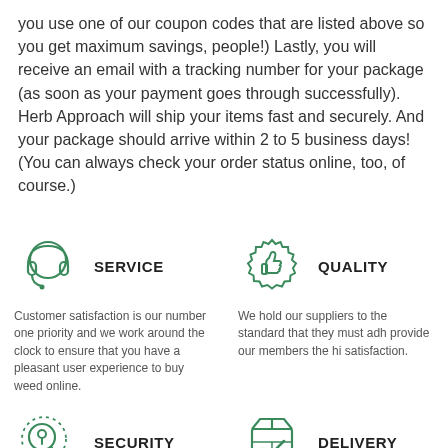you use one of our coupon codes that are listed above so you get maximum savings, people!) Lastly, you will receive an email with a tracking number for your package (as soon as your payment goes through successfully). Herb Approach will ship your items fast and securely. And your package should arrive within 2 to 5 business days! (You can always check your order status online, too, of course.)
[Figure (illustration): Green headset/customer service icon]
SERVICE
Customer satisfaction is our number one priority and we work around the clock to ensure that you have a pleasant user experience to buy weed online.
[Figure (illustration): Green thumbs up quality badge icon]
QUALITY
We hold our suppliers to the standard that they must adh provide our members the hi satisfaction.
[Figure (illustration): Green magnifying glass security icon with dotted circle]
SECURITY
[Figure (illustration): Green delivery box with checkmark icon]